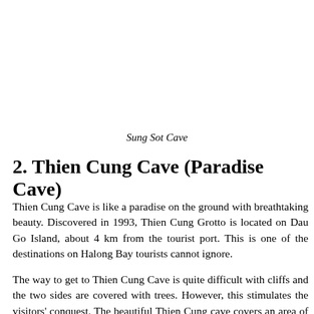Sung Sot Cave
2. Thien Cung Cave (Paradise Cave)
Thien Cung Cave is like a paradise on the ground with breathtaking beauty. Discovered in 1993, Thien Cung Grotto is located on Dau Go Island, about 4 km from the tourist port. This is one of the destinations on Halong Bay tourists cannot ignore.
The way to get to Thien Cung Cave is quite difficult with cliffs and the two sides are covered with trees. However, this stimulates the visitors' conquest. The beautiful Thien Cung cave covers an area of about 10,000 square meters. It is a complex structure with many